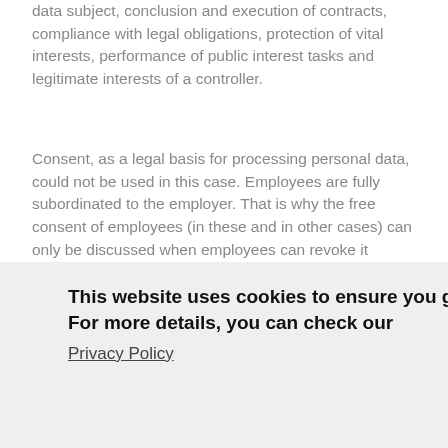data subject, conclusion and execution of contracts, compliance with legal obligations, protection of vital interests, performance of public interest tasks and legitimate interests of a controller.
Consent, as a legal basis for processing personal data, could not be used in this case. Employees are fully subordinated to the employer. That is why the free consent of employees (in these and in other cases) can only be discussed when employees can revoke it without any adverse consequences, which in the case of employer-employee relations is almost never possible.
[Figure (screenshot): Cookie consent banner overlay showing: 'This website uses cookies to ensure you get the best experience on our website. For more details, you can check our Privacy Policy' with 'Revoke' and 'Accept' buttons]
used solely for the initial purpose. Furthermore, a legitimate interest